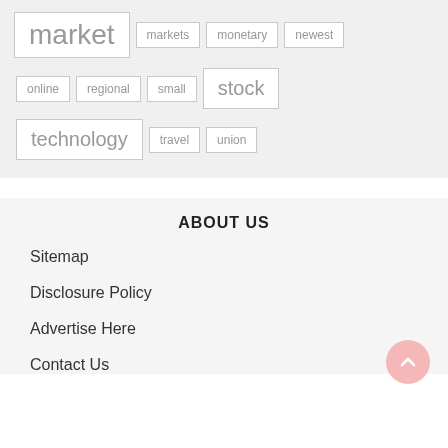[Figure (other): Tag cloud with words: market (large), markets, monetary, newest, online, regional, small, stock (large), technology (large), travel, union]
ABOUT US
Sitemap
Disclosure Policy
Advertise Here
Contact Us